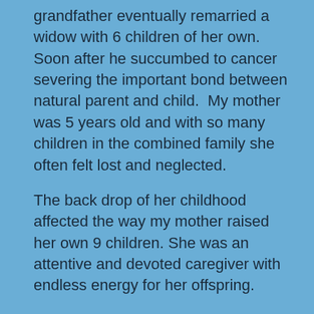grandfather eventually remarried a widow with 6 children of her own.  Soon after he succumbed to cancer severing the important bond between natural parent and child.  My mother was 5 years old and with so many children in the combined family she often felt lost and neglected.
The back drop of her childhood affected the way my mother raised her own 9 children. She was an attentive and devoted caregiver with endless energy for her offspring.
Despite her divergent workload, mother was a very stylish Hutterite.  I loved the way she smelled and dressed.  Mother took great pride in dressing us and